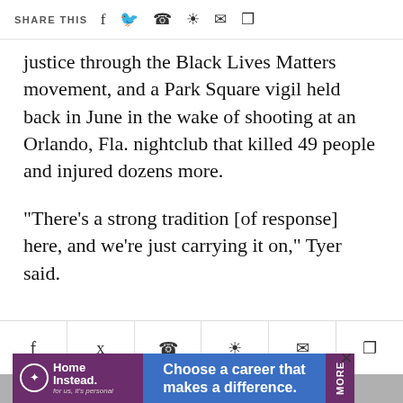SHARE THIS
justice through the Black Lives Matters movement, and a Park Square vigil held back in June in the wake of shooting at an Orlando, Fla. nightclub that killed 49 people and injured dozens more.
"There's a strong tradition [of response] here, and we're just carrying it on," Tyer said.
[Figure (other): Social share icon bar with Facebook, Twitter, WhatsApp, comment, email, and bookmark icons]
[Figure (other): Advertisement banner for Home Instead: 'Choose a career that makes a difference.' with MORE tab on right side and close button]